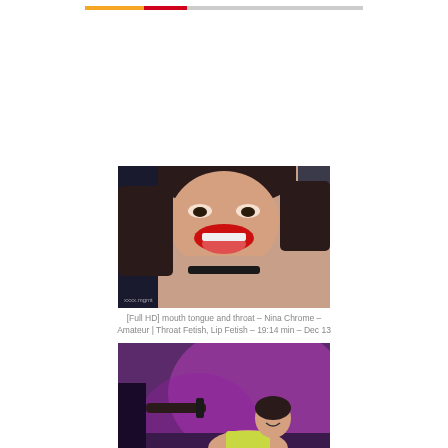[Figure (photo): Close-up photo of a woman with red lips and tongue out, wearing a collar, dark hair, with a watermark in the lower left corner.]
[Full HD] mouth tongue and throat – Nina Chrome – Amateur | Throat Fetish, Lip Fetish – 19:14 min – Dec 13
[Figure (photo): Photo of a woman in a room with purple/pink lighting, wearing a yellow top, with a watermark reading 'Nina Chrome' in the lower left corner.]